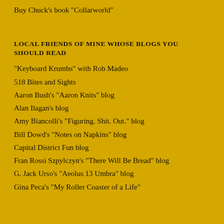Buy Chuck's book "Collarworld"
LOCAL FRIENDS OF MINE WHOSE BLOGS YOU SHOULD READ
"Keyboard Krumbs" with Rob Madeo
518 Bites and Sights
Aaron Bush's "Aaron Knits" blog
Alan Ilagan's blog
Amy Biancolli's "Figuring. Shit. Out." blog
Bill Dowd's "Notes on Napkins" blog
Capital District Fun blog
Fran Rossi Szpylczyn's "There Will Be Bread" blog
G. Jack Urso's "Aeolus 13 Umbra" blog
Gina Peca's "My Roller Coaster of a Life"